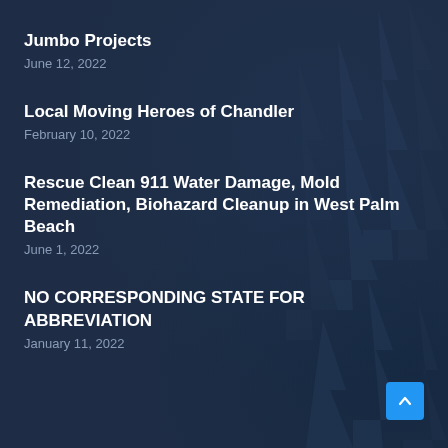Jumbo Projects
June 12, 2022
Local Moving Heroes of Chandler
February 10, 2022
Rescue Clean 911 Water Damage, Mold Remediation, Biohazard Cleanup in West Palm Beach
June 1, 2022
NO CORRESPONDING STATE FOR ABBREVIATION
January 11, 2022